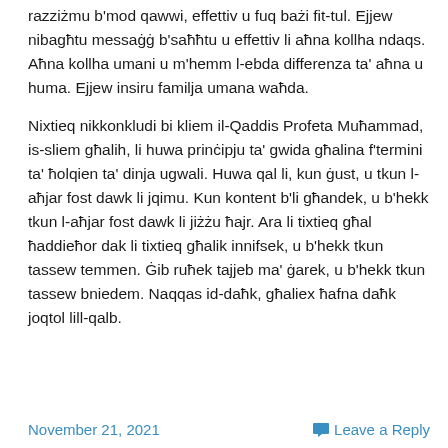razziżmu b'mod qawwi, effettiv u fuq bażi fit-tul. Ejjew nibagħtu messaġġ b'saħħtu u effettiv li aħna kollha ndaqs. Aħna kollha umani u m'hemm l-ebda differenza ta' aħna u huma. Ejjew insiru familja umana waħda.
Nixtieq nikkonkludi bi kliem il-Qaddis Profeta Muħammad, is-sliem għalih, li huwa prinċipju ta' gwida għalina f'termini ta' ħolqien ta' dinja ugwali. Huwa qal li, kun ġust, u tkun l-aħjar fost dawk li jqimu. Kun kontent b'li għandek, u b'hekk tkun l-aħjar fost dawk li jiżżu ħajr. Ara li tixtieq għal ħaddieħor dak li tixtieq għalik innifsek, u b'hekk tkun tassew temmen. Ġib ruħek tajjeb ma' ġarek, u b'hekk tkun tassew bniedem. Naqqas id-daħk, għaliex ħafna daħk joqtol lill-qalb.
November 21, 2021   Leave a Reply